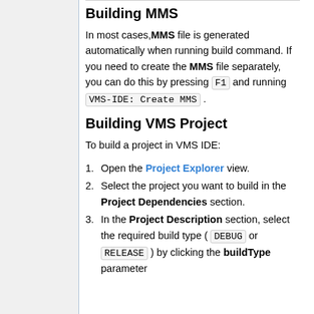Building MMS
In most cases, MMS file is generated automatically when running build command. If you need to create the MMS file separately, you can do this by pressing F1 and running VMS-IDE: Create MMS .
Building VMS Project
To build a project in VMS IDE:
1. Open the Project Explorer view.
2. Select the project you want to build in the Project Dependencies section.
3. In the Project Description section, select the required build type ( DEBUG or RELEASE ) by clicking the buildType parameter